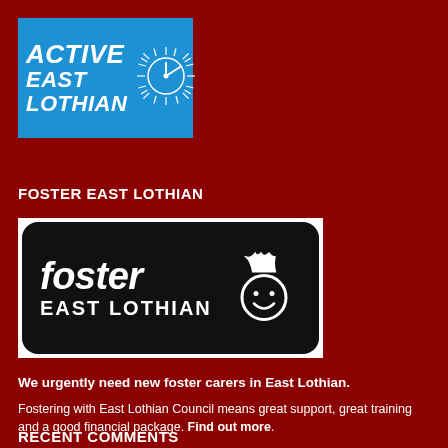[Figure (logo): Active East Lothian logo - blue rectangle with white italic bold text 'ACTIVE EAST LOTHIAN' and a sunburst/wheel graphic]
FOSTER EAST LOTHIAN
[Figure (logo): Foster East Lothian logo - black rounded rectangle with white text 'foster EAST LOTHIAN' and a simple smiley face icon wearing a crown]
We urgently need new foster carers in East Lothian.
Fostering with East Lothian Council means great support, great training and a good financial package. Find out more.
RECENT COMMENTS